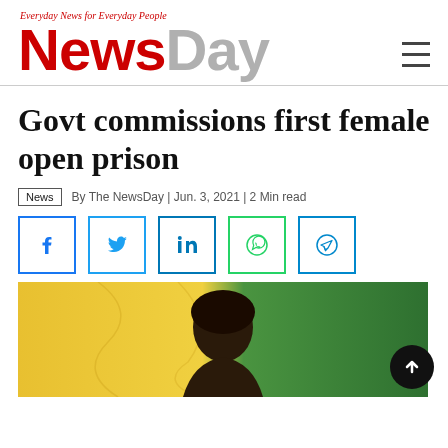Everyday News for Everyday People — NewsDay
Govt commissions first female open prison
News | By The NewsDay | Jun. 3, 2021 | 2 Min read
[Figure (photo): Social media share buttons: Facebook, Twitter, LinkedIn, WhatsApp, Telegram]
[Figure (photo): Photo of a woman in front of yellow and green fabric backdrop]